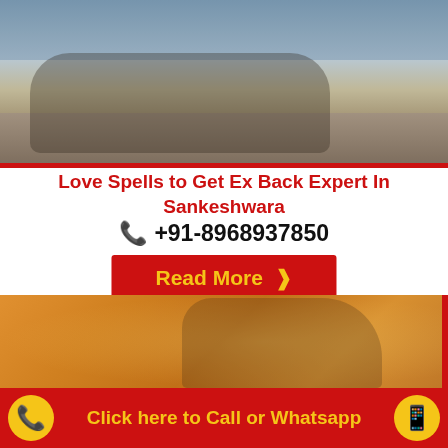[Figure (photo): Couple sitting together outdoors near water, man in plaid shirt, woman leaning back against him]
Love Spells to Get Ex Back Expert In Sankeshwara
📞 +91-8968937850
Read More ›
[Figure (photo): Couple in warm autumn light outdoors, man kissing woman on cheek, woman smiling]
Click here to Call or Whatsapp